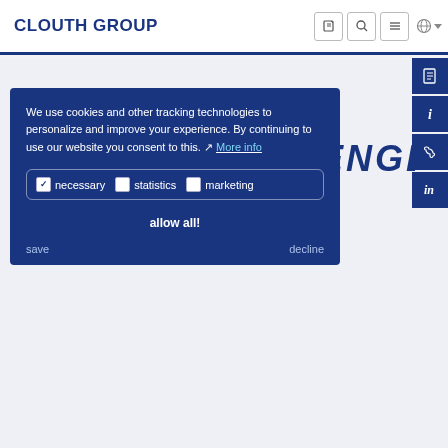CLOUTH GROUP
[Figure (logo): CLOUTH SPRENGER branded logo with diagonal slash separator and italic bold lettering in dark navy blue]
We use cookies and other tracking technologies to personalize and improve your experience. By continuing to use our website you consent to this. More info
necessary  statistics  marketing
allow all!
save  decline